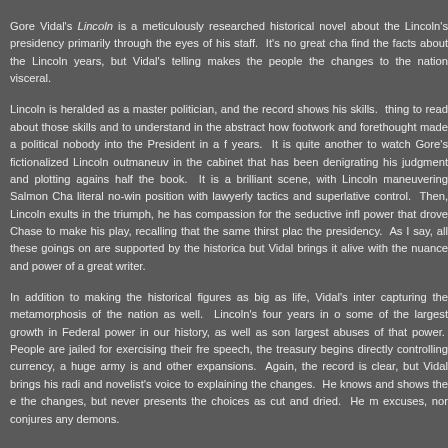Gore Vidal's Lincoln is a meticulously researched historical novel about the Lincoln's presidency primarily through the eyes of his staff. It's no great cha find the facts about the Lincoln years, but Vidal's telling makes the people the changes to the nation visceral.
Lincoln is heralded as a master politician, and the record shows his skills. thing to read about those skills and to understand in the abstract how footwork and forethought made a political nobody into the President in a f years. It is quite another to watch Gore's fictionalized Lincoln outmaneuv in the cabinet that has been denigrating his judgment and plotting agains half the book. It is a brilliant scene, with Lincoln maneuvering Salmon Cha literal no-win position with lawyerly tactics and superlative control. Then, Lincoln exults in the triumph, he has compassion for the seductive infl power that drove Chase to make his play, recalling that the same thirst plac the presidency. As I say, all these goings on are supported by the historica but Vidal brings it alive with the nuance and power of a great writer.
In addition to making the historical figures as big as life, Vidal's inter capturing the metamorphosis of the nation as well. Lincoln's four years in o some of the largest growth in Federal power in our history, as well as son largest abuses of that power. People are jailed for exercising their fre speech, the treasury begins directly controlling currency, a huge army is and other expansions. Again, the record is clear, but Vidal brings his radi and novelist's voice to explaining the changes. He knows and shows the e the changes, but never presents the choices as cut and dried. He m excuses, nor conjures any demons.